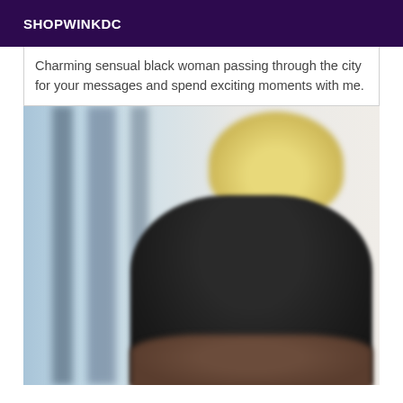SHOPWINKDC
Charming sensual black woman passing through the city for your messages and spend exciting moments with me.
[Figure (photo): Blurred photo of a person with blonde hair wearing dark clothing, standing near vertical bars or a window, viewed from behind/side.]